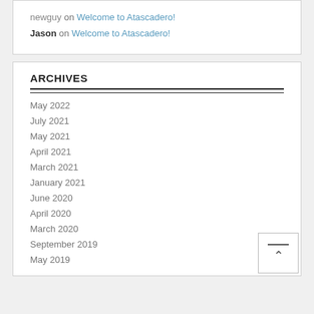newguy on Welcome to Atascadero!
Jason on Welcome to Atascadero!
ARCHIVES
May 2022
July 2021
May 2021
April 2021
March 2021
January 2021
June 2020
April 2020
March 2020
September 2019
May 2019